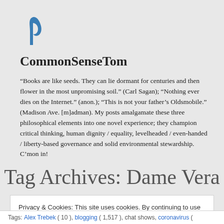[Figure (logo): Blue stylized letter/symbol logo for CommonSenseTom blog]
CommonSenseTom
“Books are like seeds. They can lie dormant for centuries and then flower in the most unpromising soil.” (Carl Sagan); “Nothing ever dies on the Internet.” (anon.); “This is not your father’s Oldsmobile.” (Madison Ave. [m]adman). My posts amalgamate these three philosophical elements into one novel experience; they champion critical thinking, human dignity / equality, levelheaded / even-handed / liberty-based governance and solid environmental stewardship. C’mon in!
Tag Archives: Dame Vera
Privacy & Cookies: This site uses cookies. By continuing to use this website, you agree to their use.
To find out more, including how to control cookies, see here: Cookie Policy
Tags: Alex Trebek ( 10 ), blogging ( 1,517 ), chat shows, coronavirus (